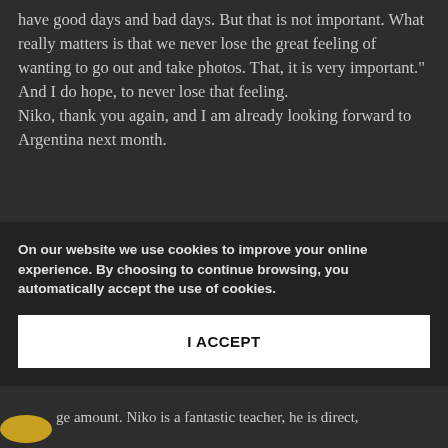have good days and bad days. But that is not important. What really matters is that we never lose the great feeling of wanting to go out and take photos. That, it is very important." And I do hope, to never lose that feeling.
Niko, thank you again, and I am already looking forward to Argentina next month.
Graciela Magnoni, Uruguay
On our website we use cookies to improve your online experience. By choosing to continue browsing, you automatically accept the use of cookies.
I ACCEPT
ge amount. Niko is a fantastic teacher, he is direct,